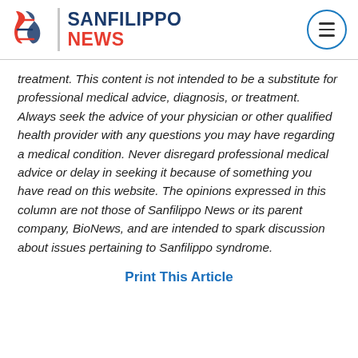SANFILIPPO NEWS
treatment. This content is not intended to be a substitute for professional medical advice, diagnosis, or treatment. Always seek the advice of your physician or other qualified health provider with any questions you may have regarding a medical condition. Never disregard professional medical advice or delay in seeking it because of something you have read on this website. The opinions expressed in this column are not those of Sanfilippo News or its parent company, BioNews, and are intended to spark discussion about issues pertaining to Sanfilippo syndrome.
Print This Article